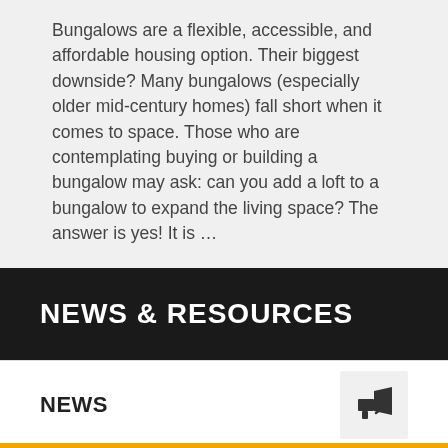Bungalows are a flexible, accessible, and affordable housing option. Their biggest downside? Many bungalows (especially older mid-century homes) fall short when it comes to space. Those who are contemplating buying or building a bungalow may ask: can you add a loft to a bungalow to expand the living space? The answer is yes! It is …
Read More »
Continue reading »
NEWS & RESOURCES
NEWS